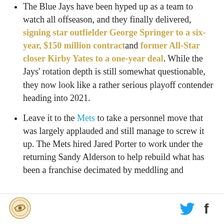The Blue Jays have been hyped up as a team to watch all offseason, and they finally delivered, signing star outfielder George Springer to a six-year, $150 million contract and former All-Star closer Kirby Yates to a one-year deal. While the Jays' rotation depth is still somewhat questionable, they now look like a rather serious playoff contender heading into 2021.
Leave it to the Mets to take a personnel move that was largely applauded and still manage to screw it up. The Mets hired Jared Porter to work under the returning Sandy Alderson to help rebuild what has been a franchise decimated by meddling and